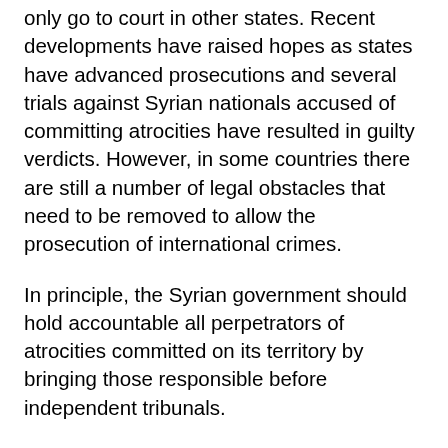only go to court in other states. Recent developments have raised hopes as states have advanced prosecutions and several trials against Syrian nationals accused of committing atrocities have resulted in guilty verdicts. However, in some countries there are still a number of legal obstacles that need to be removed to allow the prosecution of international crimes.
In principle, the Syrian government should hold accountable all perpetrators of atrocities committed on its territory by bringing those responsible before independent tribunals.
In practice, the arbitrary actions of the Syrian security apparatus and the unfair procedures of the counter-terrorism and military courts on the ground facilitate further violations and crimes.
In principle, when a state like Syria is unwilling or unable to investigate and prosecute such crimes, the international community and the guardian of international peace and security, the United Nations Security Council, should ensure that the situation does for...